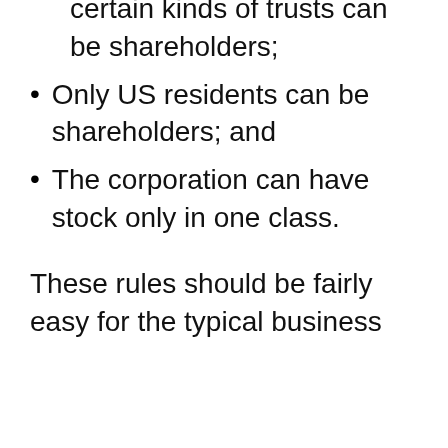certain kinds of trusts can be shareholders;
Only US residents can be shareholders; and
The corporation can have stock only in one class.
These rules should be fairly easy for the typical business